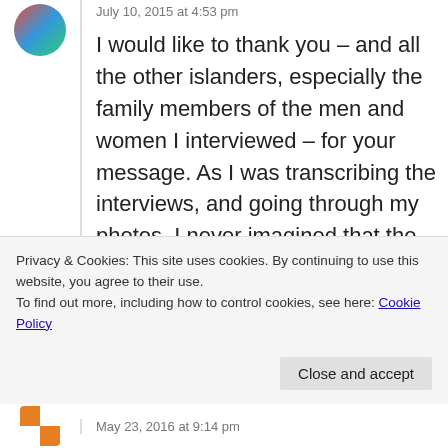July 10, 2015 at 4:53 pm
I would like to thank you – and all the other islanders, especially the family members of the men and women I interviewed – for your message. As I was transcribing the interviews, and going through my photos, I never imagined that the resulting blog posts would reach so many people!
★ Like
Privacy & Cookies: This site uses cookies. By continuing to use this website, you agree to their use.
To find out more, including how to control cookies, see here: Cookie Policy
Close and accept
May 23, 2016 at 9:14 pm